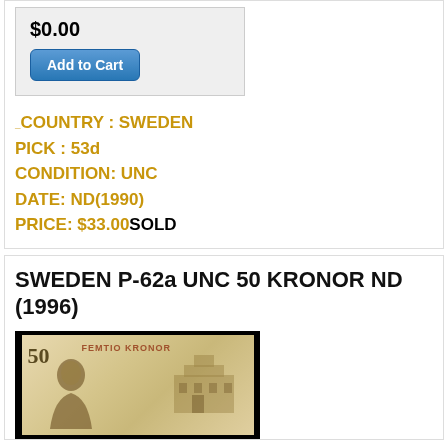$0.00
Add to Cart
_COUNTRY : SWEDEN
PICK : 53d
CONDITION: UNC
DATE: ND(1990)
PRICE: $33.00SOLD
SWEDEN P-62a UNC 50 KRONOR ND (1996)
[Figure (photo): Image of a Sweden 50 Femtio Kronor banknote showing a portrait on the left and a building on the right, against a black background]